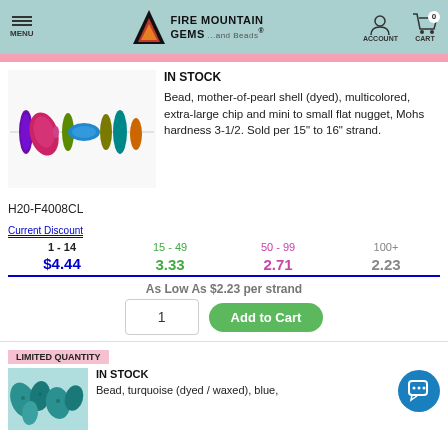MENU | FIRE MOUNTAIN GEMS ...and Beads® | ACCOUNT | CART 0
IN STOCK
Bead, mother-of-pearl shell (dyed), multicolored, extra-large chip and mini to small flat nugget, Mohs hardness 3-1/2. Sold per 15" to 16" strand.
H20-F4008CL
Current Discount
| 1 - 14 | 15 - 49 | 50 - 99 | 100+ |
| --- | --- | --- | --- |
| $4.44 | 3.33 | 2.71 | 2.23 |
As Low As $2.23 per strand
LIMITED QUANTITY
IN STOCK
Bead, turquoise (dyed / waxed), blue,